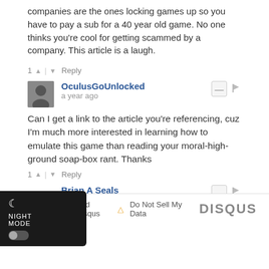companies are the ones locking games up so you have to pay a sub for a 40 year old game. No one thinks you're cool for getting scammed by a company. This article is a laugh.
1 ^ | v Reply
OculusGoUnlocked • a year ago
Can I get a link to the article you're referencing, cuz I'm much more interested in learning how to emulate this game than reading your moral-high-ground soap-box rant. Thanks
1 ^ | v Reply
Brian A Seals • a year ago
Very well said. I couldn't agree more.
^ | v 2 Reply
Subscribe  Add Disqus  Do Not Sell My Data  DISQUS